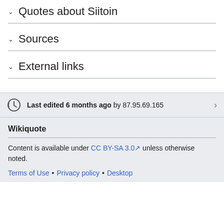Quotes about Siitoin
Sources
External links
Last edited 6 months ago by 87.95.69.165
Wikiquote
Content is available under CC BY-SA 3.0 unless otherwise noted.
Terms of Use • Privacy policy • Desktop